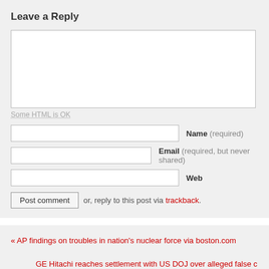Leave a Reply
Some HTML is OK
Name (required)
Email (required, but never shared)
Web
Post comment or, reply to this post via trackback.
« AP findings on troubles in nation's nuclear force via boston.com
GE Hitachi reaches settlement with US DOJ over alleged false c